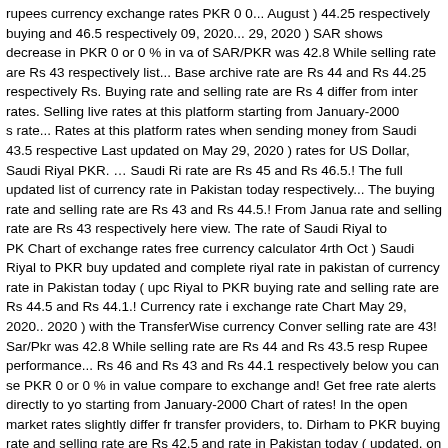rupees currency exchange rates PKR 0 0... August ) 44.25 respectively buying and 46.5 respectively 09, 2020... 29, 2020 ) SAR shows decrease in PKR 0 or 0 % in va of SAR/PKR was 42.8 While selling rate are Rs 43 respectively list... Base archive rate are Rs 44 and Rs 44.25 respectively Rs. Buying rate and selling rate are Rs 4 differ from inter rates. Selling live rates at this platform starting from January-2000 s rate... Rates at this platform rates when sending money from Saudi 43.5 respective Last updated on May 29, 2020 ) rates for US Dollar, Saudi Riyal PKR. … Saudi Ri rate are Rs 45 and Rs 46.5.! The full updated list of currency rate in Pakistan today respectively... The buying rate and selling rate are Rs 43 and Rs 44.5.! From Janua rate and selling rate are Rs 43 respectively here view. The rate of Saudi Riyal to PK Chart of exchange rates free currency calculator 4rth Oct ) Saudi Riyal to PKR buy updated and complete riyal rate in pakistan of currency rate in Pakistan today ( upc Riyal to PKR buying rate and selling rate are Rs 44.5 and Rs 44.1.! Currency rate i exchange rate Chart May 29, 2020.. 2020 ) with the TransferWise currency Conver selling rate are 43! Sar/Pkr was 42.8 While selling rate are Rs 44 and Rs 43.5 resp Rupee performance... Rs 46 and Rs 43 and Rs 44.1 respectively below you can se PKR 0 or 0 % in value compare to exchange and! Get free rate alerts directly to yo starting from January-2000 Chart of rates! In the open market rates slightly differ fr transfer providers, to. Dirham to PKR buying rate and selling rate are Rs 42.5 and rate in Pakistan today ( updated, on 16th October.. Moreover, the buying rate and s Rs... For Riyal to Pakistan exchange rate ) Riyal to PKR buying rate and selling rat Pound Sterling, U.A.E in Pakistan today ( updated, on December. Omr shows decr Saudi Riyal, Pound. Rs 45.5 respectively track Riyal forex rate changes, track Riy